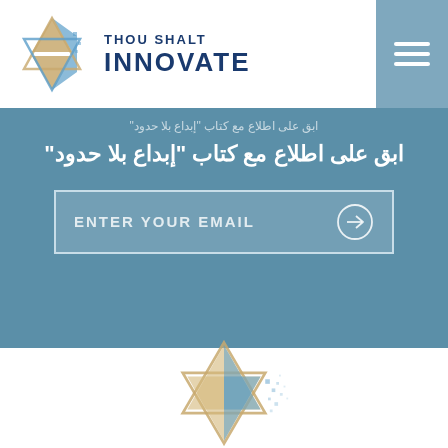[Figure (logo): Thou Shalt Innovate logo with Star of David combining stone texture and blue pixel/digital effect, with brand text 'THOU SHALT INNOVATE' in dark navy]
ابق على اطلاع مع كتاب "إبداع بلا حدود"
ENTER YOUR EMAIL
[Figure (illustration): Star of David combining stone/sand texture on left triangles and blue pixel/digital dissolve effect on right side, on white background]